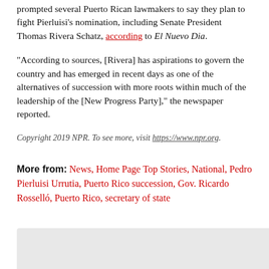prompted several Puerto Rican lawmakers to say they plan to fight Pierluisi's nomination, including Senate President Thomas Rivera Schatz, according to El Nuevo Dia.
"According to sources, [Rivera] has aspirations to govern the country and has emerged in recent days as one of the alternatives of succession with more roots within much of the leadership of the [New Progress Party]," the newspaper reported.
Copyright 2019 NPR. To see more, visit https://www.npr.org.
More from: News, Home Page Top Stories, National, Pedro Pierluisi Urrutia, Puerto Rico succession, Gov. Ricardo Rosselló, Puerto Rico, secretary of state
[Figure (other): Gray box at the bottom of the page, partial image or advertisement placeholder]